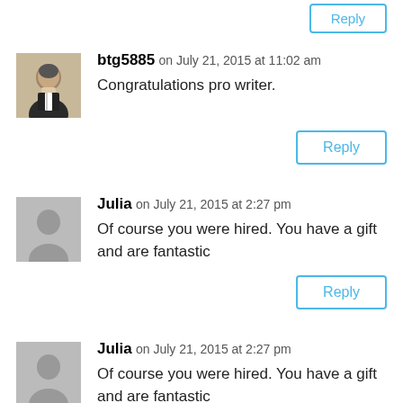[Figure (photo): Partial Reply button at top of page, partially cropped]
btg5885 on July 21, 2015 at 11:02 am
Congratulations pro writer.
Reply
Julia on July 21, 2015 at 2:27 pm
Of course you were hired. You have a gift and are fantastic
Reply
Julia on July 21, 2015 at 2:27 pm
Of course you were hired. You have a gift and are fantastic